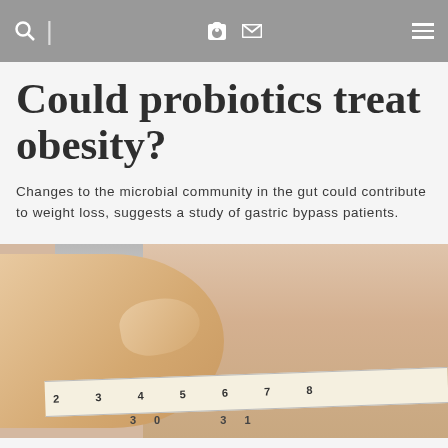Search | Facebook Email Menu
Could probiotics treat obesity?
Changes to the microbial community in the gut could contribute to weight loss, suggests a study of gastric bypass patients.
[Figure (photo): Close-up photo of a person measuring their waist with a tape measure, showing numbers including 2, 3, 4, 5, 6, 7, 8 and 30, 31 on the tape measure.]